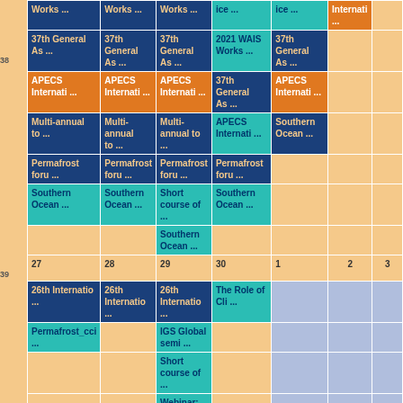| Mon | Tue | Wed | Thu | Fri | Sat | Sun |
| --- | --- | --- | --- | --- | --- | --- |
| Works ... | Works ... | Works ... | ice ... | ice ... | Internati ... |
| 37th General As ... | 37th General As ... | 37th General As ... | 2021 WAIS Works ... | 37th General As ... |  |
| APECS Internati ... | APECS Internati ... | APECS Internati ... | 37th General As ... | APECS Internati ... |  |
| Multi-annual to ... | Multi-annual to ... | Multi-annual to ... | APECS Internati ... | Southern Ocean ... |  |
| Permafrost foru ... | Permafrost foru ... | Permafrost foru ... | Permafrost foru ... |  |  |
| Southern Ocean ... | Southern Ocean ... | Short course of ... | Southern Ocean ... |  |  |
|  |  | Southern Ocean ... |  |  |  |
| 27 | 28 | 29 | 30 | 1 | 2 | 3 |
| 26th Internatio ... | 26th Internatio ... | 26th Internatio ... | The Role of Cli ... |  |  |  |
| Permafrost_cci ... |  | IGS Global semi ... |  |  |  |  |
|  |  | Short course of ... |  |  |  |  |
|  |  | Webinar: Climat ... |  |  |  |  |